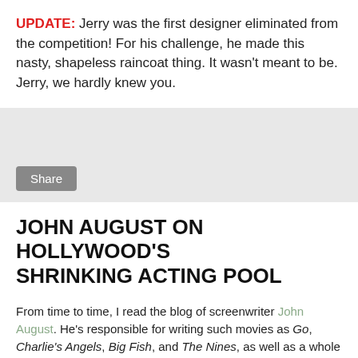UPDATE: Jerry was the first designer eliminated from the competition! For his challenge, he made this nasty, shapeless raincoat thing. It wasn't meant to be. Jerry, we hardly knew you.
[Figure (other): Gray share widget box with a 'Share' button in the lower left corner]
JOHN AUGUST ON HOLLYWOOD'S SHRINKING ACTING POOL
From time to time, I read the blog of screenwriter John August. He's responsible for writing such movies as Go, Charlie's Angels, Big Fish, and The Nines, as well as a whole bunch of other projects, both credited and uncredited. Think whatever want about his work, but it's a really interesting, useful blog, with lots of great tips on screenwriting, cool anecdotes, and general insights on the film industry.